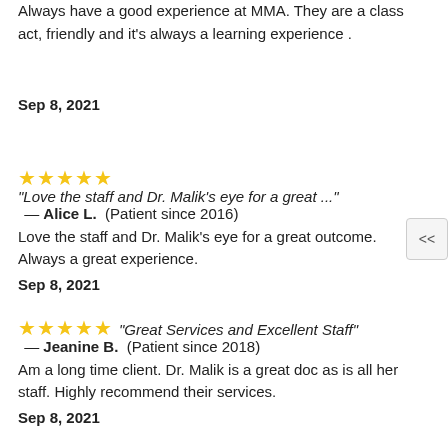Always have a good experience at MMA. They are a class act, friendly and it's always a learning experience .
Sep 8, 2021
"Love the staff and Dr. Malik's eye for a great ..." — Alice L. (Patient since 2016)
Love the staff and Dr. Malik's eye for a great outcome. Always a great experience.
Sep 8, 2021
"Great Services and Excellent Staff" — Jeanine B. (Patient since 2018)
Am a long time client. Dr. Malik is a great doc as is all her staff. Highly recommend their services.
Sep 8, 2021